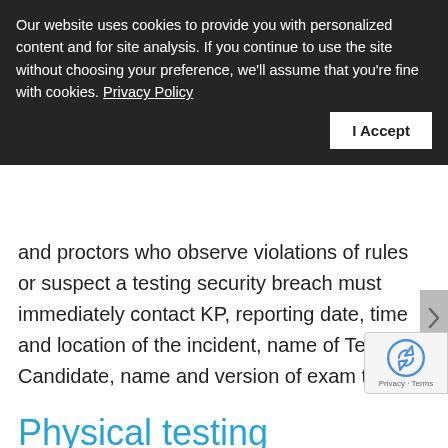proctors are trained to provide good quality...
and proctors who observe violations of rules or suspect a testing security breach must immediately contact KP, reporting date, time and location of the incident, name of Test Candidate, name and version of exam taken.
Our website uses cookies to provide you with personalized content and for site analysis. If you continue to use the site without choosing your preference, we'll assume that you're fine with cookies. Privacy Policy
Physical testing environment
Ensure the testing area is a professional environment where Test Candidates may take the exam without interruptions. Private ...